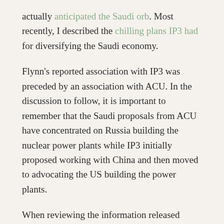actually anticipated the Saudi orb. Most recently, I described the chilling plans IP3 had for diversifying the Saudi economy.
Flynn's reported association with IP3 was preceded by an association with ACU. In the discussion to follow, it is important to remember that the Saudi proposals from ACU have concentrated on Russia building the nuclear power plants while IP3 initially proposed working with China and then moved to advocating the US building the power plants.
When reviewing the information released yesterday, it becomes abundantly clear that Michael Flynn has been remarkably dishonest in his dealings since he was fired from his role as head of the Defense Intelligence Agency by President Obama. Here is just